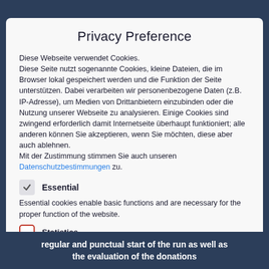Privacy Preference
Diese Webseite verwendet Cookies.
Diese Seite nutzt sogenannte Cookies, kleine Dateien, die im Browser lokal gespeichert werden und die Funktion der Seite unterstützen. Dabei verarbeiten wir personenbezogene Daten (z.B. IP-Adresse), um Medien von Drittanbietern einzubinden oder die Nutzung unserer Webseite zu analysieren. Einige Cookies sind zwingend erforderlich damit Internetseite überhaupt funktioniert; alle anderen können Sie akzeptieren, wenn Sie möchten, diese aber auch ablehnen.
Mit der Zustimmung stimmen Sie auch unseren Datenschutzbestimmungen zu.
Essential
Essential cookies enable basic functions and are necessary for the proper function of the website.
Statistics
regular and punctual start of the run as well as the evaluation of the donations